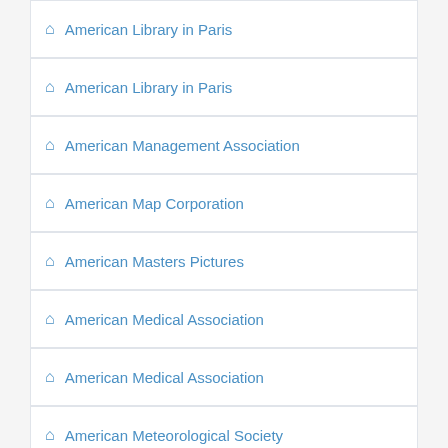American Library in Paris
American Library in Paris
American Management Association
American Map Corporation
American Masters Pictures
American Medical Association
American Medical Association
American Meteorological Society
American Movie Classics Company
American Museum of Natural History
American Museum of Natural History
American Museum of Natural History, Division of